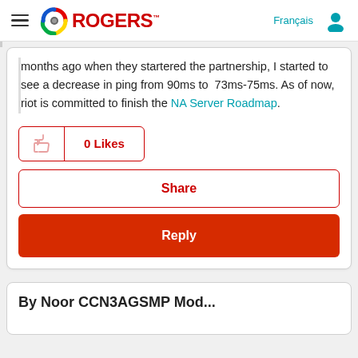ROGERS — Français
months ago when they startered the partnership, I started to see a decrease in ping from 90ms to  73ms-75ms. As of now, riot is committed to finish the NA Server Roadmap.
[Figure (other): 0 Likes button with thumbs up icon, red border]
[Figure (other): Share button, red border outline]
[Figure (other): Reply button, solid red background]
By Noor CCN3AGSMP Mod...